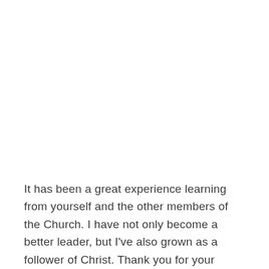It has been a great experience learning from yourself and the other members of the Church. I have not only become a better leader, but I've also grown as a follower of Christ. Thank you for your mentorship throughout this journey.